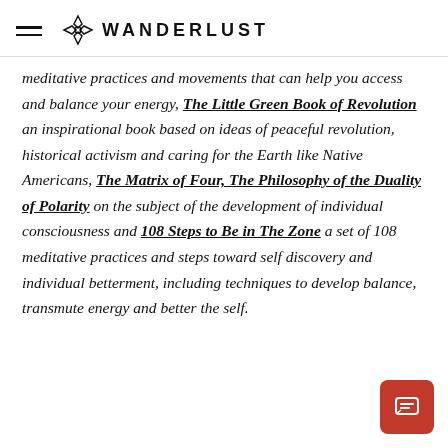WANDERLUST
meditative practices and movements that can help you access and balance your energy, The Little Green Book of Revolution an inspirational book based on ideas of peaceful revolution, historical activism and caring for the Earth like Native Americans, The Matrix of Four, The Philosophy of the Duality of Polarity on the subject of the development of individual consciousness and 108 Steps to Be in The Zone a set of 108 meditative practices and steps toward self discovery and individual betterment, including techniques to develop balance, transmute energy and better the self.